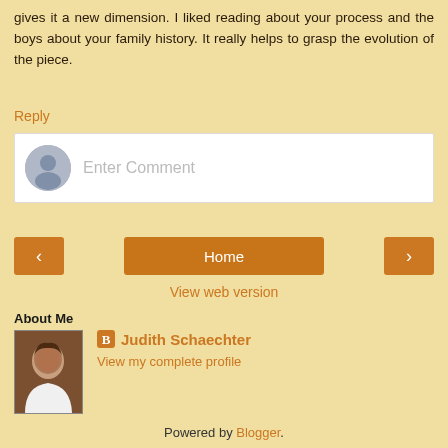gives it a new dimension. I liked reading about your process and the boys about your family history. It really helps to grasp the evolution of the piece.
Reply
[Figure (other): Comment input box with user avatar placeholder and 'Enter Comment' placeholder text]
[Figure (other): Navigation buttons: left arrow, Home button, right arrow]
View web version
About Me
[Figure (photo): Profile photo of Judith Schaechter, a woman with dark hair]
Judith Schaechter
View my complete profile
Powered by Blogger.